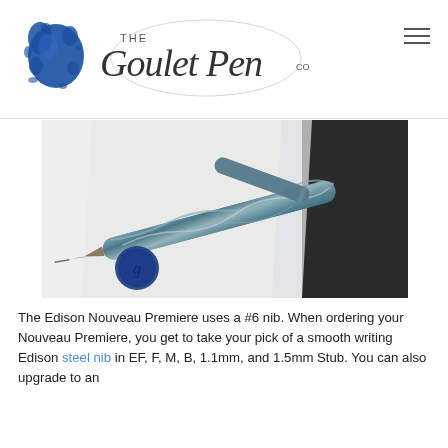The Goulet Pen Co
[Figure (photo): Close-up photograph of an Edison Nouveau Premiere fountain pen in blue and silver marbled resin, shown uncapped with nib visible, alongside a blue wax seal on white paper. A second pen (capped) is visible in the background.]
The Edison Nouveau Premiere uses a #6 nib. When ordering your Nouveau Premiere, you get to take your pick of a smooth writing Edison steel nib in EF, F, M, B, 1.1mm, and 1.5mm Stub. You can also upgrade to an